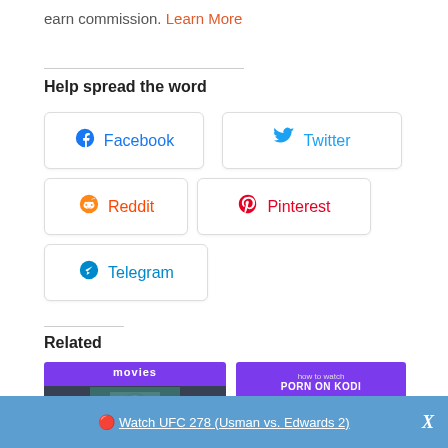earn commission. Learn More
Help spread the word
Facebook
Twitter
Reddit
Pinterest
Telegram
Related
[Figure (photo): Thumbnail image with purple and dark background]
[Figure (photo): Thumbnail image: PORN ON KODI with 18+ warning badge on yellow background]
🔴 Watch UFC 278 (Usman vs. Edwards 2)  X